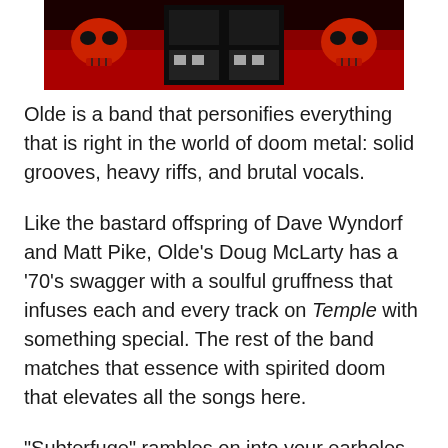[Figure (photo): Band promotional image with skulls and dark red background, black and white elements in center]
Olde is a band that personifies everything that is right in the world of doom metal: solid grooves, heavy riffs, and brutal vocals.
Like the bastard offspring of Dave Wyndorf and Matt Pike, Olde's Doug McLarty has a '70's swagger with a soulful gruffness that infuses each and every track on Temple with something special. The rest of the band matches that essence with spirited doom that elevates all the songs here.
"Subterfuge" rambles on into your earholes just as Pigpen would appear on The Peanuts: as a cacophonous mess that only makes sense when you stop to pay attention. "Now I See You" has this